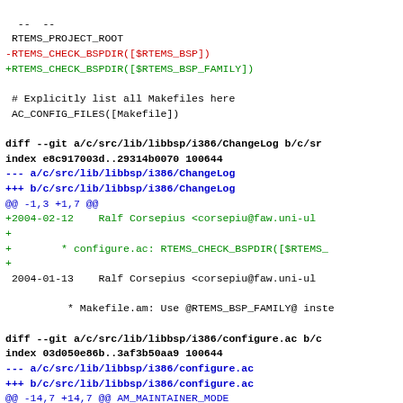--  --
 RTEMS_PROJECT_ROOT
-RTEMS_CHECK_BSPDIR([$RTEMS_BSP])
+RTEMS_CHECK_BSPDIR([$RTEMS_BSP_FAMILY])

 # Explicitly list all Makefiles here
 AC_CONFIG_FILES([Makefile])

diff --git a/c/src/lib/libbsp/i386/ChangeLog b/c/sr
index e8c917003d..29314b0070 100644
--- a/c/src/lib/libbsp/i386/ChangeLog
+++ b/c/src/lib/libbsp/i386/ChangeLog
@@ -1,3 +1,7 @@
+2004-02-12    Ralf Corsepius <corsepiu@faw.uni-ul
+
+        * configure.ac: RTEMS_CHECK_BSPDIR([$RTEMS_
+
 2004-01-13    Ralf Corsepius <corsepiu@faw.uni-ul

          * Makefile.am: Use @RTEMS_BSP_FAMILY@ inste

diff --git a/c/src/lib/libbsp/i386/configure.ac b/c
index 03d050e86b..3af3b50aa9 100644
--- a/c/src/lib/libbsp/i386/configure.ac
+++ b/c/src/lib/libbsp/i386/configure.ac
@@ -14,7 +14,7 @@ AM_MAINTAINER_MODE
 RTEMS_ENV_RTEMSBSP
 RTEMS_PROJECT_ROOT

-RTEMS_CHECK_BSPDIR([$RTEMS_BSP])